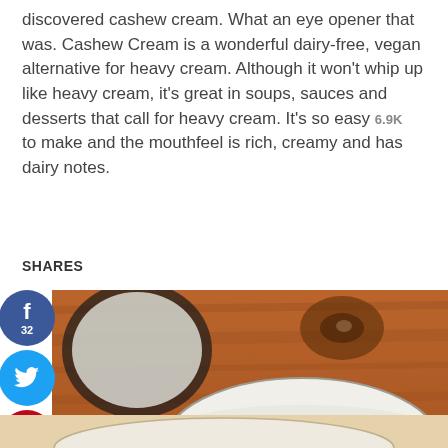discovered cashew cream. What an eye opener that was. Cashew Cream is a wonderful dairy-free, vegan alternative for heavy cream. Although it won't whip up like heavy cream, it's great in soups, sauces and desserts that call for heavy cream. It's so easy to make and the mouthfeel is rich, creamy and has dairy notes.
6.9K SHARES
[Figure (photo): Overhead view of a glass jar filled with white cashew cream on a warm wooden background, with another glass container visible behind it. Social media share buttons (Facebook 32, Twitter, Pinterest 6.8K, Yummly) on the left side.]